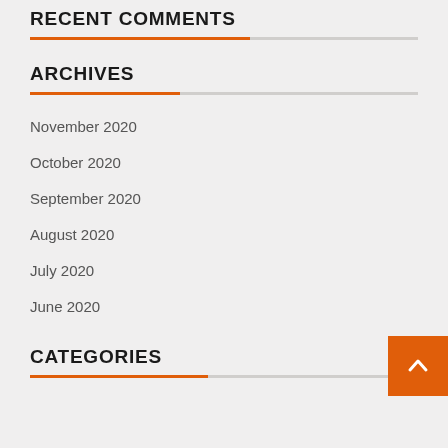RECENT COMMENTS
ARCHIVES
November 2020
October 2020
September 2020
August 2020
July 2020
June 2020
CATEGORIES